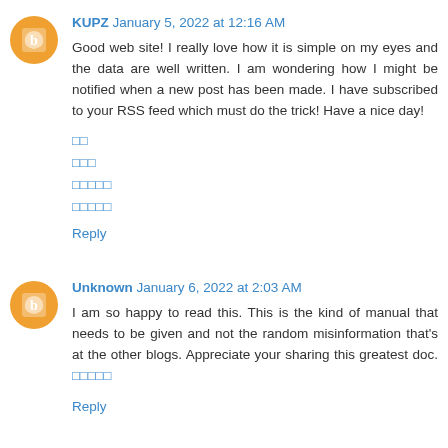KUPZ January 5, 2022 at 12:16 AM
Good web site! I really love how it is simple on my eyes and the data are well written. I am wondering how I might be notified when a new post has been made. I have subscribed to your RSS feed which must do the trick! Have a nice day!
[]
[][][]
[][][][][]
[][][][][]
Reply
Unknown January 6, 2022 at 2:03 AM
I am so happy to read this. This is the kind of manual that needs to be given and not the random misinformation that's at the other blogs. Appreciate your sharing this greatest doc. [][][][][]
Reply